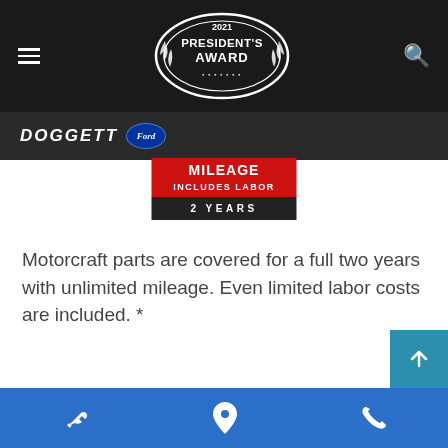2021 President's Award — Doggett Ford
[Figure (logo): 2021 President's Award oval badge with laurel wreath on black background]
[Figure (logo): Motorcraft warranty badge: MILEAGE / INCLUDES LABOR / 2 YEARS]
Motorcraft parts are covered for a full two years with unlimited mileage. Even limited labor costs are included. *
*See your U.S. dealer for a copy of the limited warranty. Motorcraft® is a registered trademark ...
Show Details
Navigation footer with wrench, map pin, and phone icons